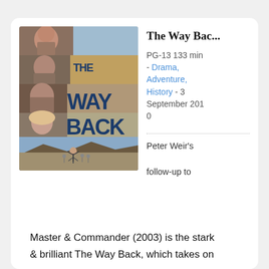[Figure (photo): Movie poster for 'The Way Back' showing four horizontal strips of character faces and a scenic landscape image at the bottom with the title 'THE WAY BACK' overlaid in large bold dark blue letters.]
The Way Bac...
PG-13 133 min - Drama, Adventure, History - 3 September 2010
Peter Weir's follow-up to Master & Commander (2003) is the stark & brilliant The Way Back, which takes on